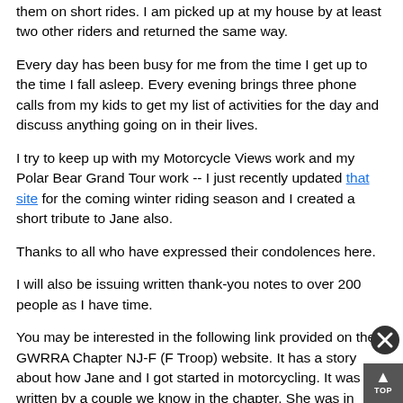them on short rides. I am picked up at my house by at least two other riders and returned the same way.
Every day has been busy for me from the time I get up to the time I fall asleep. Every evening brings three phone calls from my kids to get my list of activities for the day and discuss anything going on in their lives.
I try to keep up with my Motorcycle Views work and my Polar Bear Grand Tour work -- I just recently updated that site for the coming winter riding season and I created a short tribute to Jane also.
Thanks to all who have expressed their condolences here.
I will also be issuing written thank-you notes to over 200 people as I have time.
You may be interested in the following link provided on the GWRRA Chapter NJ-F (F Troop) website. It has a story about how Jane and I got started in motorcycling. It was written by a couple we know in the chapter. She was in three organizations with Jane and he was the person who provided practical logistics to us both to learn how to ride and make a proper start. It also contains many pictures of us as taken by our chapter F friends over the years.